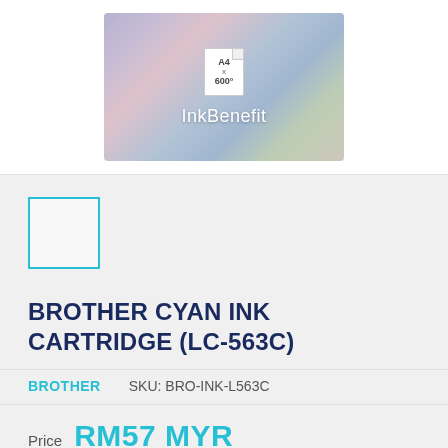[Figure (photo): Product image area showing colorful ink cartridge caps with InkBenefit branding and A4 x 600 paper icon overlay]
[Figure (photo): Small empty thumbnail image box with cyan border]
BROTHER CYAN INK CARTRIDGE (LC-563C)
BROTHER    SKU: BRO-INK-L563C
Price    RM57 MYR